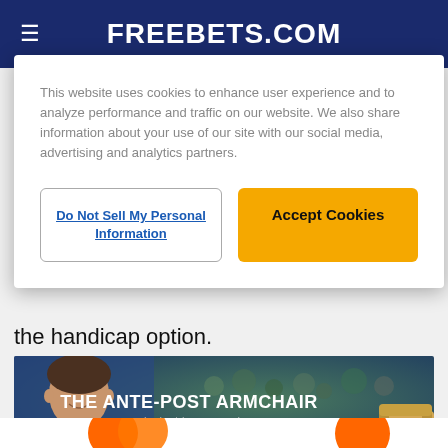FREEBETS.COM
This website uses cookies to enhance user experience and to analyze performance and traffic on our website. We also share information about your use of our site with our social media, advertising and analytics partners.
Do Not Sell My Personal Information
Accept Cookies
the handicap option.
[Figure (photo): Banner advertisement for 'The Ante-Post Armchair' featuring Ed Quigley every Monday on freebets.com]
[Figure (photo): Partial bottom banner with orange circles, partially visible]